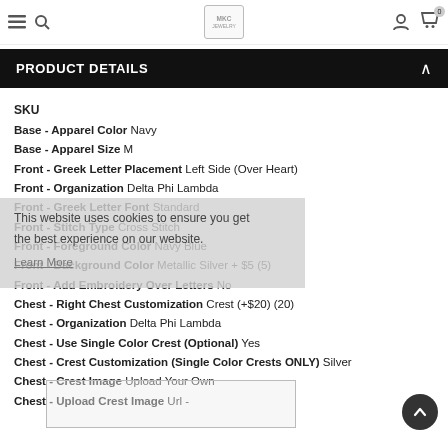MKC (logo)
PRODUCT DETAILS
SKU
Base - Apparel Color Navy
Base - Apparel Size M
Front - Greek Letter Placement Left Side (Over Heart)
Front - Organization Delta Phi Lambda
Front - Greek Letter Font Standard
Front - Stitch Type Cross Stitch
Front - Foreground Color Navy Blue
Front - Background Color Metallic Silver + $5 (5)
Front - Add Embroidery Over Letters No
Chest - Right Chest Customization Crest (+$20) (20)
Chest - Organization Delta Phi Lambda
Chest - Use Single Color Crest (Optional) Yes
Chest - Crest Customization (Single Color Crests ONLY) Silver
Chest - Crest Image Upload Your Own
Chest - Upload Crest Image Url -